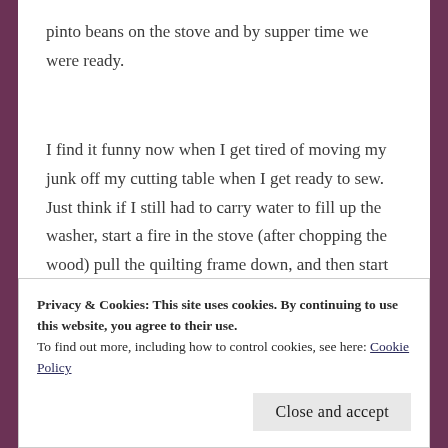pinto beans on the stove and by supper time we were ready.
I find it funny now when I get tired of moving my junk off my cutting table when I get ready to sew. Just think if I still had to carry water to fill up the washer, start a fire in the stove (after chopping the wood) pull the quilting frame down, and then start
Privacy & Cookies: This site uses cookies. By continuing to use this website, you agree to their use.
To find out more, including how to control cookies, see here: Cookie Policy
Close and accept